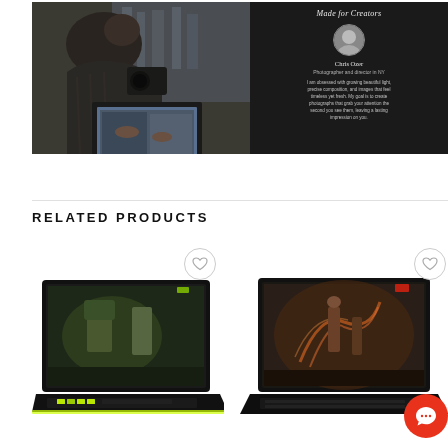[Figure (photo): Dark promotional banner showing a man using a laptop with a camera, with a 'Made for Creators' section on the right featuring a profile photo of Chris Ozer, Photographer and director in NY, with a quote about obsession with beautiful light and composition.]
RELATED PRODUCTS
[Figure (photo): Gaming laptop (Acer/ASUS style) with yellow-green keyboard and colorful game wallpaper displayed on screen, with a heart/wishlist button overlay]
[Figure (photo): Gaming laptop (MSI style) with red accents and action game wallpaper on screen, with a heart/wishlist button overlay and a red chat bubble icon in the corner]